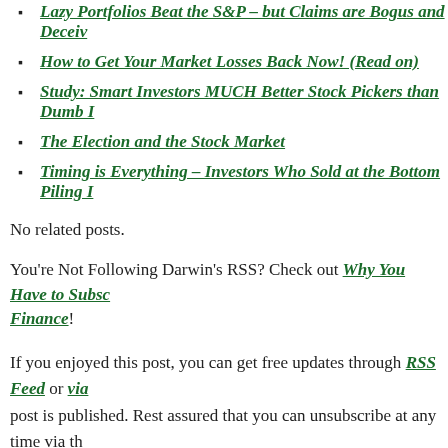Lazy Portfolios Beat the S&P – but Claims are Bogus and Deceiv…
How to Get Your Market Losses Back Now! (Read on)
Study: Smart Investors MUCH Better Stock Pickers than Dumb I…
The Election and the Stock Market
Timing is Everything – Investors Who Sold at the Bottom Piling I…
No related posts.
You're Not Following Darwin's RSS? Check out Why You Have to Subscribe to Darwin's Finance!
If you enjoyed this post, you can get free updates through RSS Feed or via… post is published. Rest assured that you can unsubscribe at any time via th… your information will not be sold, archived or utilized for any other "nefar…